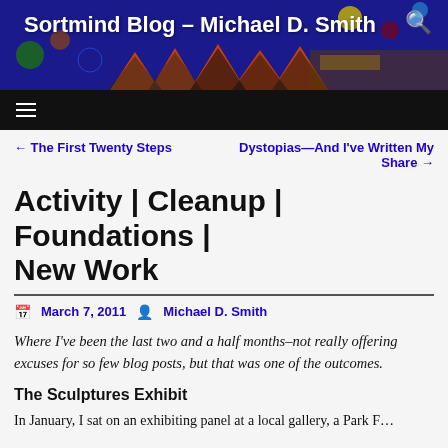Sortmind Blog – Michael D. Smith
← The First Twenty Steps
Dystopias—And I've Written My Share →
Activity | Cleanup | Foundations | New Work
March 7, 2011   Michael D. Smith
Where I've been the last two and a half months–not really offering excuses for so few blog posts, but that was one of the outcomes.
The Sculptures Exhibit
In January, I sat on an exhibiting panel at a local gallery, a Park F...